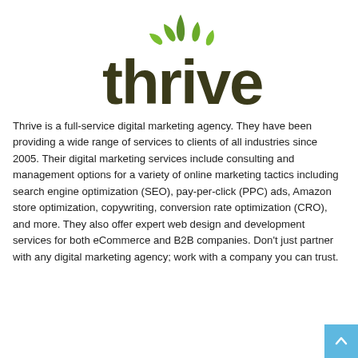[Figure (logo): Thrive logo — lowercase 'thrive' in dark olive/brown with green leaf sprouts above the letter 'i']
Thrive is a full-service digital marketing agency. They have been providing a wide range of services to clients of all industries since 2005. Their digital marketing services include consulting and management options for a variety of online marketing tactics including search engine optimization (SEO), pay-per-click (PPC) ads, Amazon store optimization, copywriting, conversion rate optimization (CRO), and more. They also offer expert web design and development services for both eCommerce and B2B companies. Don't just partner with any digital marketing agency; work with a company you can trust.